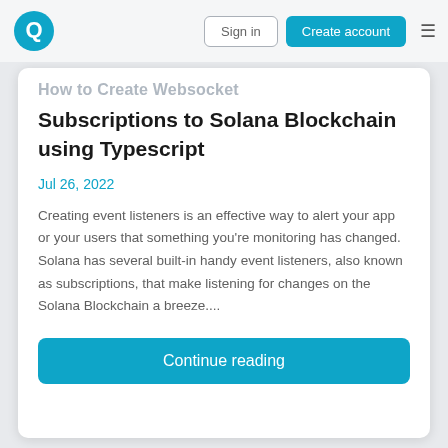Sign in | Create account
Subscriptions to Solana Blockchain using Typescript
Jul 26, 2022
Creating event listeners is an effective way to alert your app or your users that something you're monitoring has changed. Solana has several built-in handy event listeners, also known as subscriptions, that make listening for changes on the Solana Blockchain a breeze....
Continue reading